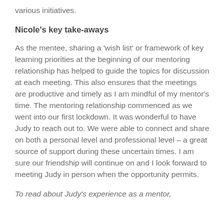various initiatives.
Nicole's key take-aways
As the mentee, sharing a 'wish list' or framework of key learning priorities at the beginning of our mentoring relationship has helped to guide the topics for discussion at each meeting. This also ensures that the meetings are productive and timely as I am mindful of my mentor's time. The mentoring relationship commenced as we went into our first lockdown. It was wonderful to have Judy to reach out to. We were able to connect and share on both a personal level and professional level – a great source of support during these uncertain times. I am sure our friendship will continue on and I look forward to meeting Judy in person when the opportunity permits.
To read about Judy's experience as a mentor,